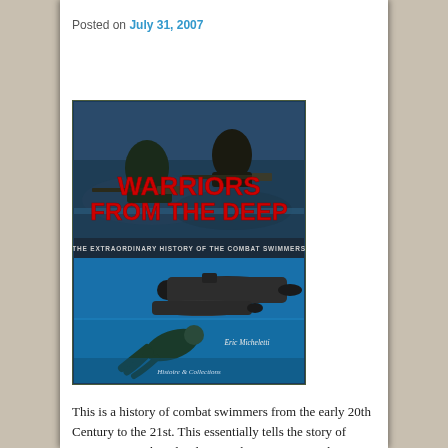Posted on July 31, 2007
[Figure (photo): Book cover of 'Warriors From The Deep: The Extraordinary History of the Combat Swimmers' by Eric Micheletti, published by Histoire & Collections. Shows combat swimmers emerging from water with weapons on top half, and an underwater submarine/diver scene on the bottom half. Title in large red text.]
This is a history of combat swimmers from the early 20th Century to the 21st. This essentially tells the story of German, French and Italian combat swimmers. The